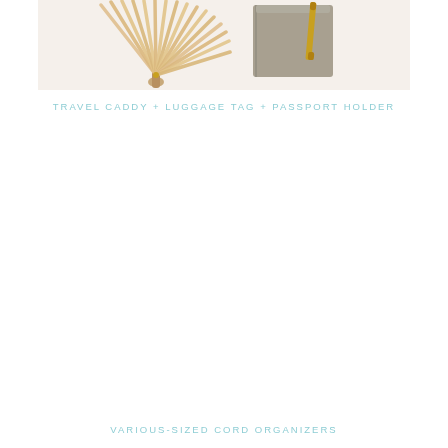[Figure (photo): Flatlay photo of a wooden hand fan and a grey leather passport holder/card case with a gold pen on a white background]
TRAVEL CADDY + LUGGAGE TAG + PASSPORT HOLDER
VARIOUS-SIZED CORD ORGANIZERS